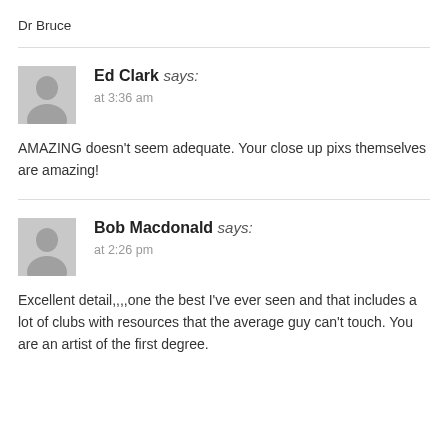Dr Bruce
Ed Clark says: at 3:36 am
AMAZING doesn't seem adequate. Your close up pixs themselves are amazing!
Bob Macdonald says: at 2:26 pm
Excellent detail,,,,one the best I've ever seen and that includes a lot of clubs with resources that the average guy can't touch. You are an artist of the first degree.